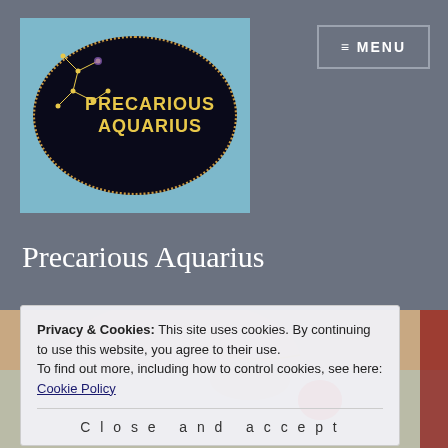[Figure (logo): Precarious Aquarius logo: dark oval with constellation lines and text on light blue background]
Precarious Aquarius
[Figure (photo): Woman in lingerie holding a red apple, lying on shiny fabric]
Privacy & Cookies: This site uses cookies. By continuing to use this website, you agree to their use.
To find out more, including how to control cookies, see here: Cookie Policy
Close and accept